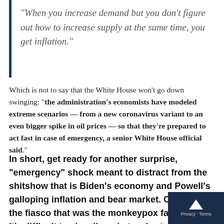“When you increase demand but you don’t figure out how to increase supply at the same time, you get inflation.”
Which is not to say that the White House won’t go down swinging: “the administration’s economists have modeled extreme scenarios — from a new coronavirus variant to an even bigger spike in oil prices — so that they’re prepared to act fast in case of emergency, a senior White House official said.”
In short, get ready for another surprise, “emergency” shock meant to distract from the shitshow that is Biden’s economy and Powell’s galloping inflation and bear market. Only, after the fiasco that was the monkeypox false start, it’s difficult to visualize what – short of a staged war on Taiwan – the Biden propaganda machine can come up with. One thing is certain, it will